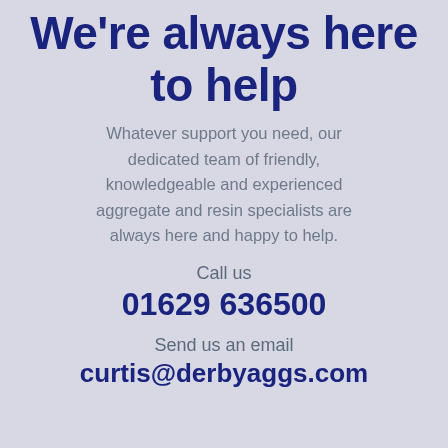We're always here to help
Whatever support you need, our dedicated team of friendly, knowledgeable and experienced aggregate and resin specialists are always here and happy to help.
Call us
01629 636500
Send us an email
curtis@derbyaggs.com